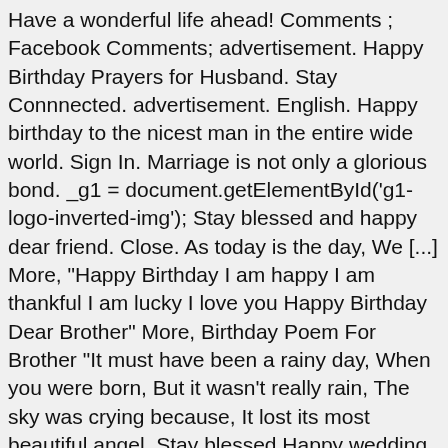Have a wonderful life ahead! Comments ; Facebook Comments; advertisement. Happy Birthday Prayers for Husband. Stay Connnected. advertisement. English. Happy birthday to the nicest man in the entire wide world. Sign In. Marriage is not only a glorious bond. _g1 = document.getElementById('g1-logo-inverted-img'); Stay blessed and happy dear friend. Close. As today is the day, We [...] More, "Happy Birthday I am happy I am thankful I am lucky I love you Happy Birthday Dear Brother" More, Birthday Poem For Brother "It must have been a rainy day, When you were born, But it wasn't really rain, The sky was crying because, It lost its most beautiful angel. Stay blessed Happy wedding anniversary to the most wonderful couple I know, You guys are simply amazing, So much love and so much care, Today this day I did a special payer, To keep you guys happy forever, May you always stay in bliss, And separate never, Stay in love and blessed, Happy anniversary! May you always be surrounded by people that love you and want your well being. However, you need to apply proper grammar rules in any sentence. ਸਦਾ ਖੁਸ਼ ਰਹੋ ਅਤੇ ਸਦਾ ਮੁਸ਼ਕੁਰਾਉਂਦੇ ਰਹੋ. Usage Frequency: 1 Stay Happy; Stay Blessed -